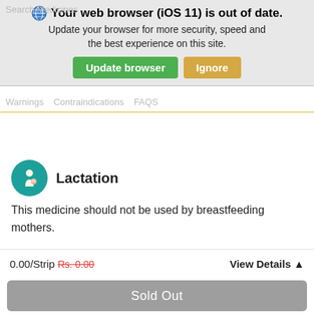[Figure (screenshot): Browser update warning banner with globe icon, bold title 'Your web browser (iOS 11) is out of date.', body text 'Update your browser for more security, speed and the best experience on this site.', green 'Update browser' button, and tan 'Ignore' button.]
Lactation
This medicine should not be used by breastfeeding mothers.
Driving
Its intake has not shown any risks during driving. For further advice, consult your doctor.
0.00/Strip Rs. 0.00   View Details
Sold Out